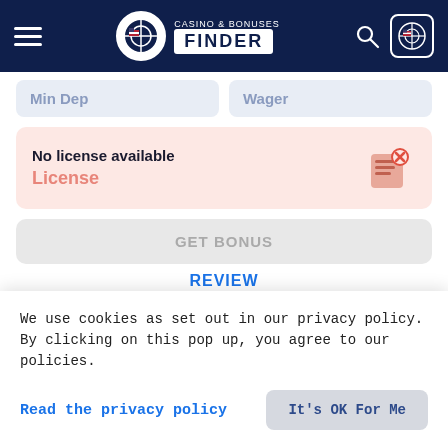CASINO & BONUSES FINDER
Min Dep  Wager
No license available
License
GET BONUS
REVIEW
Bonus Code
Not Required
User feedback
1  0
We use cookies as set out in our privacy policy. By clicking on this pop up, you agree to our policies.
Read the privacy policy
It's OK For Me